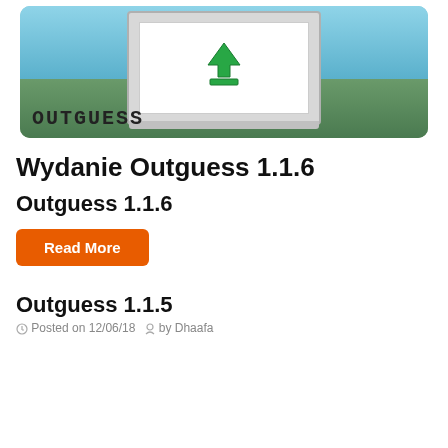[Figure (screenshot): Screenshot of Outguess software with beach background and download arrow icon, with 'OUTGUESS' text label at bottom left]
Wydanie Outguess 1.1.6
Outguess 1.1.6
Read More
Outguess 1.1.5
Posted on 12/06/18   by Dhaafa